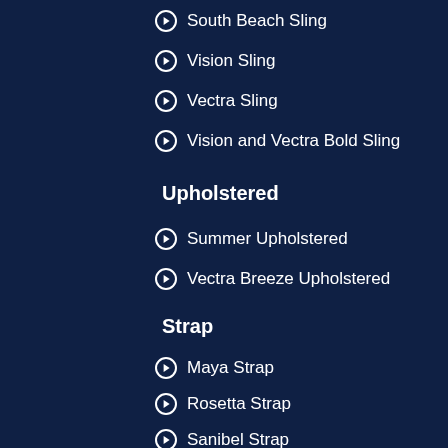South Beach Sling
Vision Sling
Vectra Sling
Vision and Vectra Bold Sling
Upholstered
Summer Upholstered
Vectra Breeze Upholstered
Strap
Maya Strap
Rosetta Strap
Sanibel Strap
Sanibel Basketweave Strap
Cushion